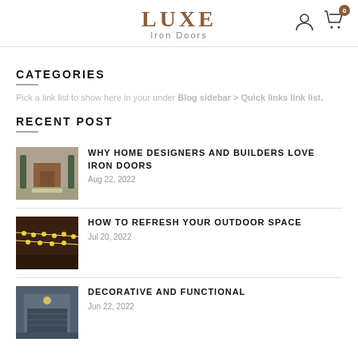LUXE Iron Doors
CATEGORIES
Pick a link list to show here in your under Blog sidebar > Quick links link list.
RECENT POST
WHY HOME DESIGNERS AND BUILDERS LOVE IRON DOORS
Aug 22, 2022
HOW TO REFRESH YOUR OUTDOOR SPACE
Jul 20, 2022
DECORATIVE AND FUNCTIONAL
Jun 22, 2022